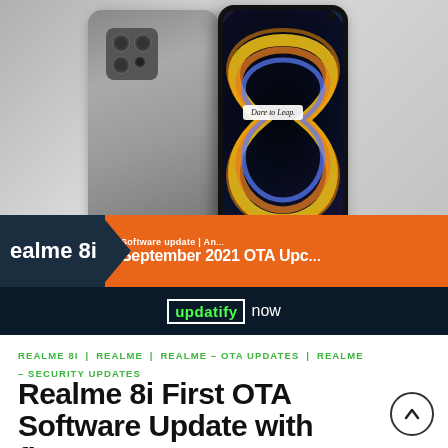[Figure (photo): Realme 8i smartphone shown from front and back with 'Dare to Leap' branding and colorful display. Banner shows 'realme 8i' with 'Software update | Android | September 2021 OTA Update' and 'updatify now' overlay.]
REALME 8I | REALME | REALME – OTA UPDATES | REALME – SECURITY UPDATES
Realme 8i First OTA Software Update with fixes